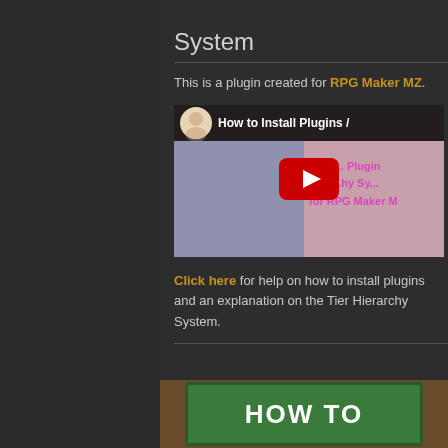System
This is a plugin created for RPG Maker MZ.
[Figure (screenshot): YouTube video thumbnail showing 'How to Install Plugins / Tier Hierarchy System for RPG Maker MZ' with a play button overlay and anime character avatar.]
Click here for help on how to install plugins and an explanation on the Tier Hierarchy System.
[Figure (screenshot): Partial screenshot of a green chalkboard-style graphic showing 'HOW TO' text at the bottom of the page.]